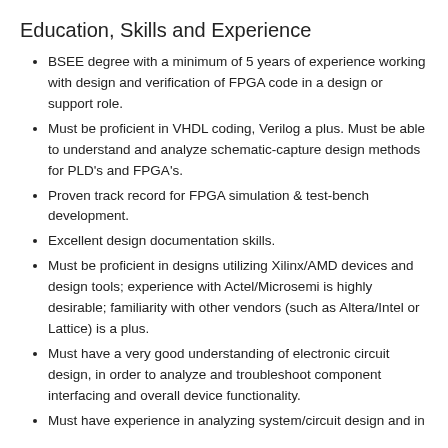Education, Skills and Experience
BSEE degree with a minimum of 5 years of experience working with design and verification of FPGA code in a design or support role.
Must be proficient in VHDL coding, Verilog a plus. Must be able to understand and analyze schematic-capture design methods for PLD's and FPGA's.
Proven track record for FPGA simulation & test-bench development.
Excellent design documentation skills.
Must be proficient in designs utilizing Xilinx/AMD devices and design tools; experience with Actel/Microsemi is highly desirable; familiarity with other vendors (such as Altera/Intel or Lattice) is a plus.
Must have a very good understanding of electronic circuit design, in order to analyze and troubleshoot component interfacing and overall device functionality.
Must have experience in analyzing system/circuit design and in